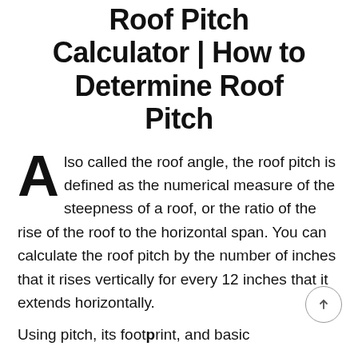Roof Pitch Calculator | How to Determine Roof Pitch
Also called the roof angle, the roof pitch is defined as the numerical measure of the steepness of a roof, or the ratio of the rise of the roof to the horizontal span. You can calculate the roof pitch by the number of inches that it rises vertically for every 12 inches that it extends horizontally.
Using pitch, its footprint, and basic